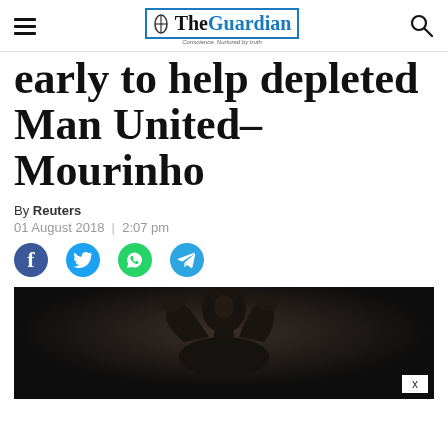The Guardian
early to help depleted Man United– Mourinho
By Reuters
01 August 2018 | 2:07 pm
[Figure (photo): Dark photo of a man clapping his hands, silhouetted against a black background]